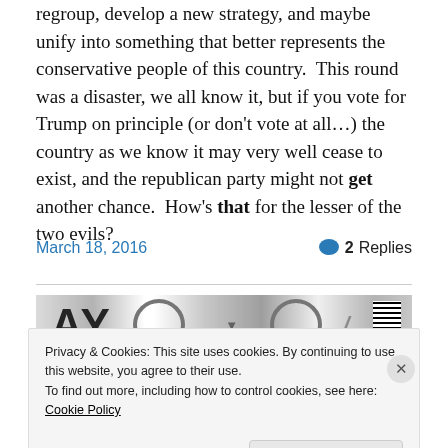regroup, develop a new strategy, and maybe unify into something that better represents the conservative people of this country.  This round was a disaster, we all know it, but if you vote for Trump on principle (or don't vote at all…) the country as we know it may very well cease to exist, and the republican party might not get another chance.  How's that for the lesser of the two evils?
March 18, 2016
2 Replies
[Figure (photo): Partial image strip showing black and white graphic elements, cropped at bottom of article]
Privacy & Cookies: This site uses cookies. By continuing to use this website, you agree to their use.
To find out more, including how to control cookies, see here: Cookie Policy